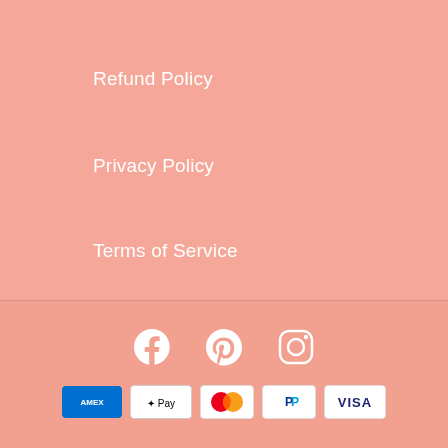Refund Policy
Privacy Policy
Terms of Service
Do not sell my personal information
[Figure (infographic): Social media icons: Facebook, Pinterest, Instagram]
[Figure (infographic): Payment method icons: American Express, Apple Pay, Mastercard, PayPal, Visa]